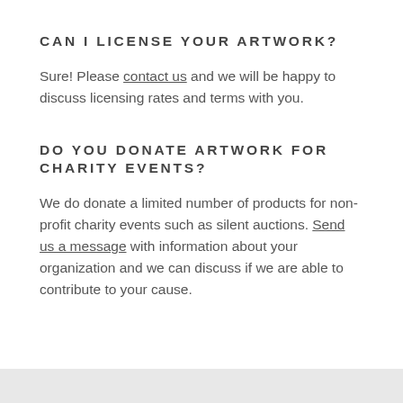CAN I LICENSE YOUR ARTWORK?
Sure! Please contact us and we will be happy to discuss licensing rates and terms with you.
DO YOU DONATE ARTWORK FOR CHARITY EVENTS?
We do donate a limited number of products for non-profit charity events such as silent auctions. Send us a message with information about your organization and we can discuss if we are able to contribute to your cause.